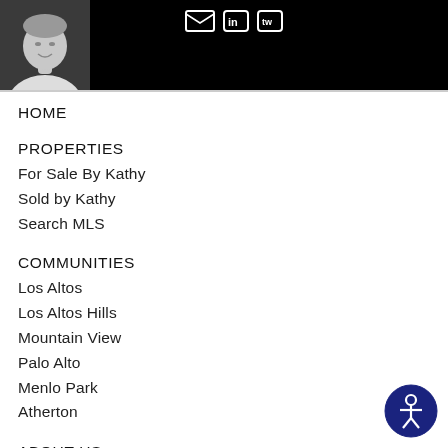[Figure (photo): Black header bar with a black-and-white portrait photo of a woman (agent) on the left, and social media icons (email, LinkedIn, other) at the top center-right.]
HOME
PROPERTIES
For Sale By Kathy
Sold by Kathy
Search MLS
COMMUNITIES
Los Altos
Los Altos Hills
Mountain View
Palo Alto
Menlo Park
Atherton
ABOUT US
TESTIMONIALS
[Figure (illustration): Accessibility icon button — dark navy circle with a white person/wheelchair accessibility symbol inside.]